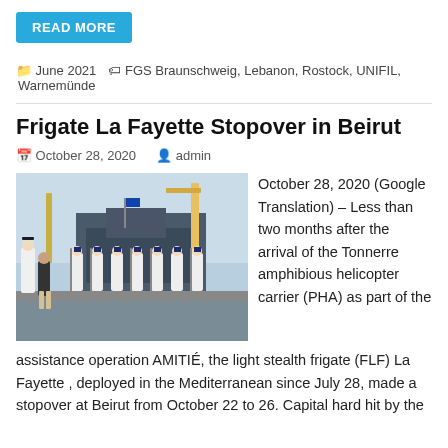READ MORE
June 2021   FGS Braunschweig, Lebanon, Rostock, UNIFIL, Warnemünde
Frigate La Fayette Stopover in Beirut
October 28, 2020   admin
[Figure (photo): Military personnel in white uniforms standing in formation at a port, with a naval officer and civilian walking in foreground, ships and cranes visible in background.]
October 28, 2020 (Google Translation) – Less than two months after the arrival of the Tonnerre amphibious helicopter carrier (PHA) as part of the assistance operation AMITIÉ, the light stealth frigate (FLF) La Fayette , deployed in the Mediterranean since July 28, made a stopover at Beirut from October 22 to 26. Capital hard hit by the